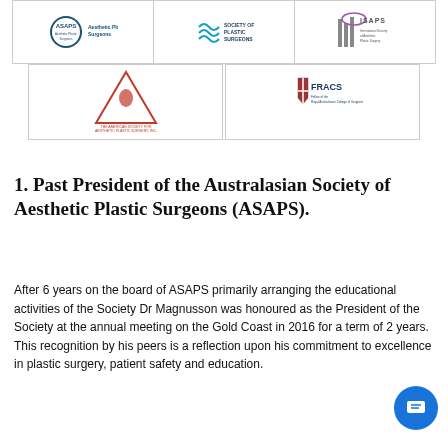[Figure (logo): Three medical society logos in a row: ASAPS (Australasian Society of Aesthetic Plastic Surgeons), Society of Plastic Surgeons, and ISAPS (International Society of Aesthetic Plastic Surgery)]
[Figure (logo): Two medical society logos: The American Society for Aesthetic Plastic Surgery Inc. (with Nefertiti triangle logo) and FRACS (Fellow of the Royal Australasian College of Surgeons)]
1. Past President of the Australasian Society of Aesthetic Plastic Surgeons (ASAPS).
After 6 years on the board of ASAPS primarily arranging the educational activities of the Society Dr Magnusson was honoured as the President of the Society at the annual meeting on the Gold Coast in 2016 for a term of 2 years. This recognition by his peers is a reflection upon his commitment to excellence in plastic surgery, patient safety and education.